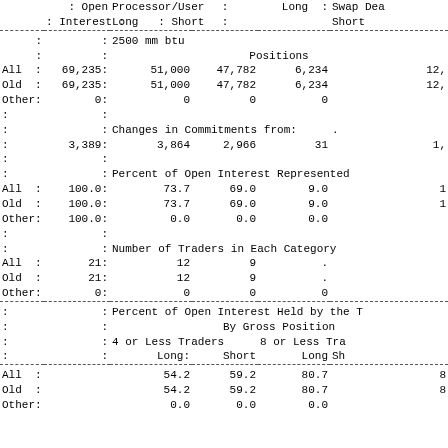|  | Open Interest | Processor/User Long | Processor/User Short | Long | Short (Swap Dea) |
| --- | --- | --- | --- | --- | --- |
|  | :2500 mm btu |  |  |  |  |
|  |  | Positions |  |  |  |
| All : | 69,235: | 51,000 | 47,782 | 6,234 | 12, |
| Old : | 69,235: | 51,000 | 47,782 | 6,234 | 12, |
| Other: | 0: | 0 | 0 | 0 |  |
|  |  |  |  |  |  |
|  |  | Changes in Commitments from: |  |  | . |
|  | 3,389: | 3,864 | 2,966 | 31 | 1, |
|  |  |  |  |  |  |
|  |  | Percent of Open Interest Represented |  |  |  |
| All : | 100.0: | 73.7 | 69.0 | 9.0 | 1 |
| Old : | 100.0: | 73.7 | 69.0 | 9.0 | 1 |
| Other: | 100.0: | 0.0 | 0.0 | 0.0 |  |
|  |  |  |  |  |  |
|  |  | Number of Traders in Each Category |  |  |  |
| All : | 21: | 12 | 9 | . |  |
| Old : | 21: | 12 | 9 | . |  |
| Other: | 0: | 0 | 0 | 0 |  |
|  |  | Percent of Open Interest Held by the T |  |  |  |
|  |  | By Gross Position |  |  |  |
|  |  | 4 or Less Traders |  | 8 or Less Tra |  |
|  |  | Long: | Short | Long | Sh |
| All : |  | 54.2 | 59.2 | 80.7 | 8 |
| Old : |  | 54.2 | 59.2 | 80.7 | 8 |
| Other: |  | 0.0 | 0.0 | 0.0 |  |